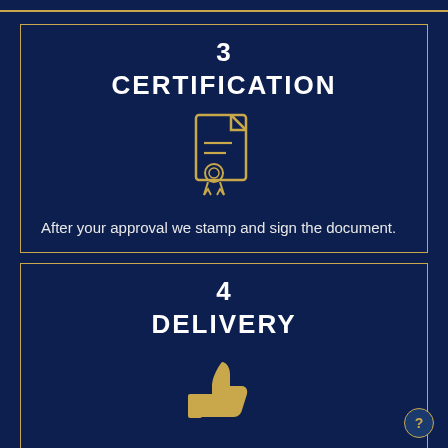3
CERTIFICATION
[Figure (illustration): Gold outline icon of a certificate/document with two horizontal lines and a seal/medal at the bottom]
After your approval we stamp and sign the document.
4
DELIVERY
[Figure (illustration): Gold outline icon of a thumbs up hand gesture]
Then we email it (or mail according to details) back to